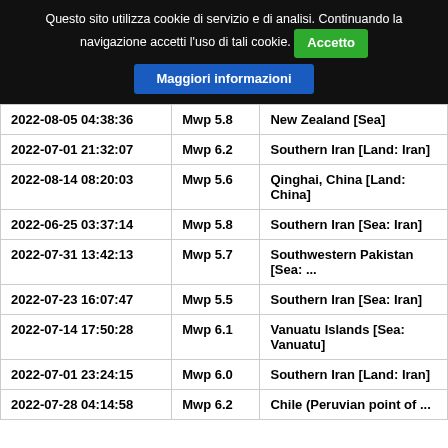Questo sito utilizza cookie di servizio e di analisi. Continuando la navigazione accetti l'uso di tali cookie. Accetto Maggiori informazioni
| 2022-08-05 04:38:36 | Mwp 5.8 | New Zealand [Sea] |
| 2022-07-01 21:32:07 | Mwp 6.2 | Southern Iran [Land: Iran] |
| 2022-08-14 08:20:03 | Mwp 5.6 | Qinghai, China [Land: China] |
| 2022-06-25 03:37:14 | Mwp 5.8 | Southern Iran [Sea: Iran] |
| 2022-07-31 13:42:13 | Mwp 5.7 | Southwestern Pakistan [Sea: ... |
| 2022-07-23 16:07:47 | Mwp 5.5 | Southern Iran [Sea: Iran] |
| 2022-07-14 17:50:28 | Mwp 6.1 | Vanuatu Islands [Sea: Vanuatu] |
| 2022-07-01 23:24:15 | Mwp 6.0 | Southern Iran [Land: Iran] |
| 2022-07-28 04:14:58 | Mwp 6.2 | Chile (Peruvian point of ... |